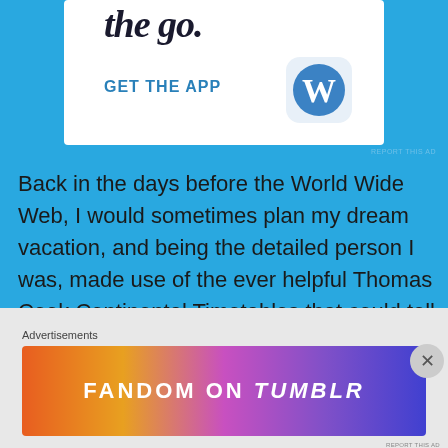[Figure (screenshot): WordPress mobile app advertisement showing partial text 'the go.' with 'GET THE APP' link and WordPress W logo icon on white background]
REPORT THIS AD
Back in the days before the World Wide Web,  I would sometimes plan my dream vacation, and being the detailed person I was, made use of the ever helpful Thomas Cook Continental Timetables that could tell me the best ways to get from Town A to Town B by rail.  Because when you're on vacation, and on a bit of a budget, getting a Britrail and Europass was the way to go.
Advertisements
[Figure (screenshot): Fandom on Tumblr advertisement banner with colorful gradient background (orange to purple) and white bold text reading FANDOM ON tumblr]